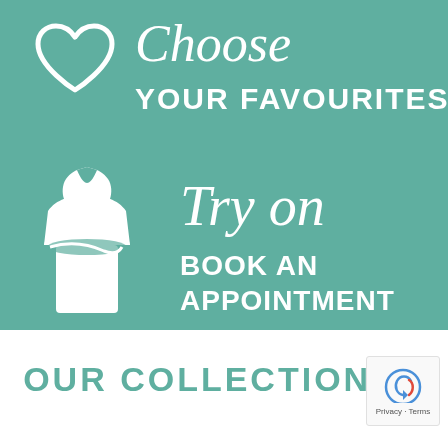[Figure (infographic): Teal background infographic showing two steps: 1) Heart icon with 'Choose YOUR FAVOURITES' text, 2) Dress/mannequin icon with 'Try on BOOK AN APPOINTMENT' text. Below is a white section with 'OUR COLLECTIONS' in teal and a reCAPTCHA badge.]